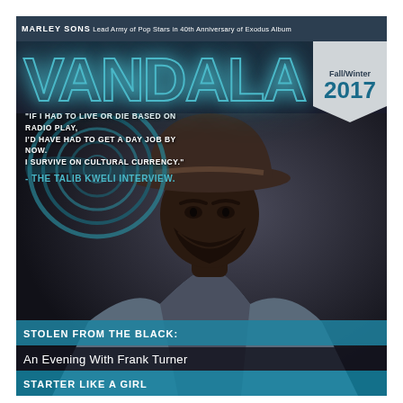MARLEY SONS Lead Army of Pop Stars in 40th Anniversary of Exodus Album
VANDALA
Fall/Winter 2017
[Figure (photo): Magazine cover featuring a Black man wearing a wide-brim hat and denim jacket, looking directly at camera against a dark background. Concentric circle design overlaid on left side with quote text.]
"IF I HAD TO LIVE OR DIE BASED ON RADIO PLAY, I'D HAVE HAD TO GET A DAY JOB BY NOW. I SURVIVE ON CULTURAL CURRENCY."
- THE TALIB KWELI INTERVIEW.
STOLEN FROM THE BLACK:
An Evening With Frank Turner
STARTER LIKE A GIRL